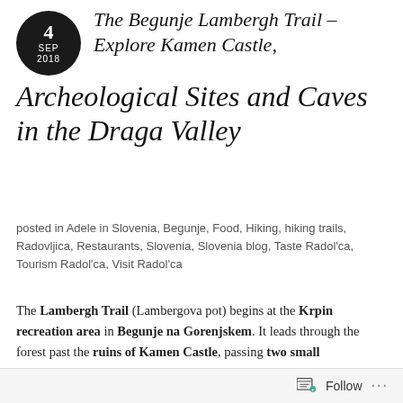The Begunje Lambergh Trail – Explore Kamen Castle, Archeological Sites and Caves in the Draga Valley
posted in Adele in Slovenia, Begunje, Food, Hiking, hiking trails, Radovljica, Restaurants, Slovenia, Slovenia blog, Taste Radol'ca, Tourism Radol'ca, Visit Radol'ca
The Lambergh Trail (Lambergova pot) begins at the Krpin recreation area in Begunje na Gorenjskem. It leads through the forest past the ruins of Kamen Castle, passing two small archeological sites, and ending in the lush Draga valley at the Gostišče Draga restaurant, where you can enjoy a drink, snack or slap-up meal to gather your strength for the return journey, or you could even continue further on
Follow